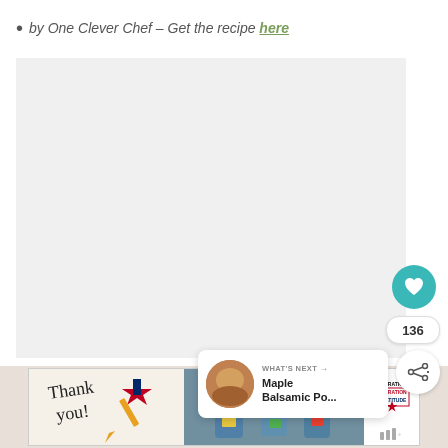by One Clever Chef – Get the recipe here
[Figure (photo): Light gray placeholder image area for a recipe photo]
136
WHAT'S NEXT → Maple Balsamic Po...
[Figure (photo): Advertisement banner: Operation Gratitude thank you card campaign with healthcare workers]